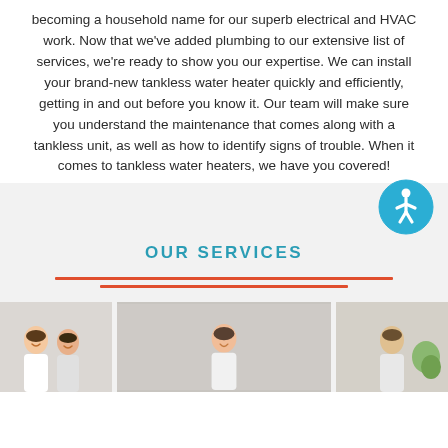becoming a household name for our superb electrical and HVAC work. Now that we've added plumbing to our extensive list of services, we're ready to show you our expertise. We can install your brand-new tankless water heater quickly and efficiently, getting in and out before you know it. Our team will make sure you understand the maintenance that comes along with a tankless unit, as well as how to identify signs of trouble. When it comes to tankless water heaters, we have you covered!
[Figure (illustration): Accessibility icon — blue circular button with white human figure (wheelchair accessibility symbol)]
OUR SERVICES
[Figure (photo): Photo strip showing three women smiling, cut off at bottom of page]